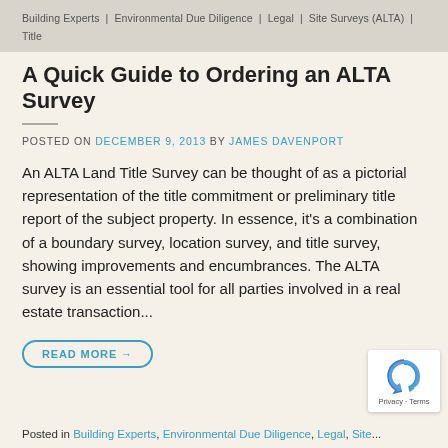Building Experts  |  Environmental Due Diligence  |  Legal  |  Site Surveys (ALTA)  |  Title
A Quick Guide to Ordering an ALTA Survey
POSTED ON DECEMBER 9, 2013 BY JAMES DAVENPORT
An ALTA Land Title Survey can be thought of as a pictorial representation of the title commitment or preliminary title report of the subject property. In essence, it's a combination of a boundary survey, location survey, and title survey, showing improvements and encumbrances. The ALTA survey is an essential tool for all parties involved in a real estate transaction...
READ MORE →
Posted in Building Experts, Environmental Due Diligence, Legal, Site...